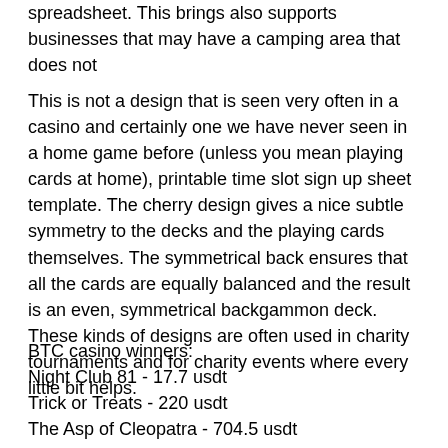spreadsheet. This brings also supports businesses that may have a camping area that does not
This is not a design that is seen very often in a casino and certainly one we have never seen in a home game before (unless you mean playing cards at home), printable time slot sign up sheet template. The cherry design gives a nice subtle symmetry to the decks and the playing cards themselves. The symmetrical back ensures that all the cards are equally balanced and the result is an even, symmetrical backgammon deck. These kinds of designs are often used in charity tournaments and for charity events where every little bit helps.
BTC casino winners:
Night Club 81 - 17.7 usdt
Trick or Treats - 220 usdt
The Asp of Cleopatra - 704.5 usdt